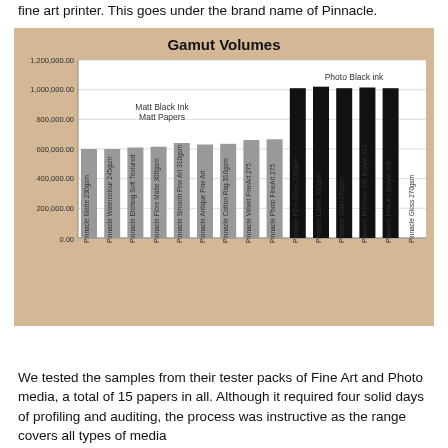fine art printer. This goes under the brand name of Pinnacle.
[Figure (bar-chart): Gamut Volumes]
We tested the samples from their tester packs of Fine Art and Photo media, a total of 15 papers in all. Although it required four solid days of profiling and auditing, the process was instructive as the range covers all types of media